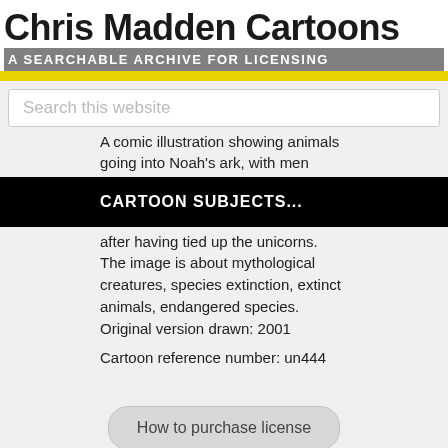Chris Madden Cartoons
A SEARCHABLE ARCHIVE FOR LICENSING
Search this website
A comic illustration showing animals going into Noah's ark, with men
CARTOON SUBJECTS...
after having tied up the unicorns. The image is about mythological creatures, species extinction, extinct animals, endangered species. Original version drawn: 2001
Cartoon reference number: un444
How to purchase license